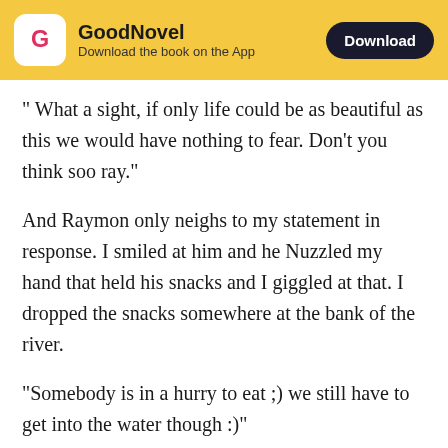GoodNovel — Download the book on the App
" What a sight, if only life could be as beautiful as this we would have nothing to fear. Don't you think soo ray."
And Raymon only neighs to my statement in response. I smiled at him and he Nuzzled my hand that held his snacks and I giggled at that. I dropped the snacks somewhere at the bank of the river.
"Somebody is in a hurry to eat ;) we still have to get into the water though :)"
After his response, Raymon checked his hooves...